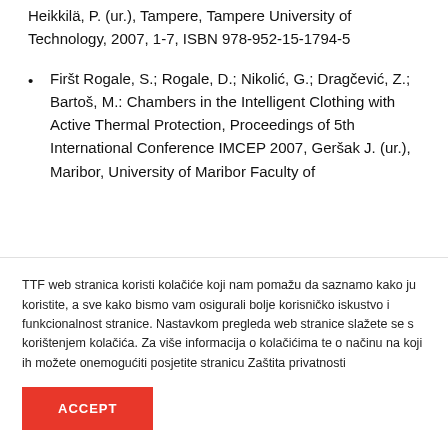Heikkilä, P. (ur.), Tampere, Tampere University of Technology, 2007, 1-7, ISBN 978-952-15-1794-5
Firšt Rogale, S.; Rogale, D.; Nikolić, G.; Dragčević, Z.; Bartoš, M.: Chambers in the Intelligent Clothing with Active Thermal Protection, Proceedings of 5th International Conference IMCEP 2007, Geršak J. (ur.), Maribor, University of Maribor Faculty of
TTF web stranica koristi kolačiće koji nam pomažu da saznamo kako ju koristite, a sve kako bismo vam osigurali bolje korisničko iskustvo i funkcionalnost stranice. Nastavkom pregleda web stranice slažete se s korištenjem kolačića. Za više informacija o kolačićima te o načinu na koji ih možete onemogućiti posjetite stranicu Zaštita privatnosti
ACCEPT